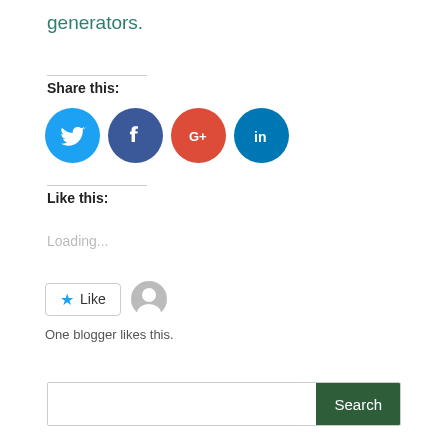generators.
Share this:
[Figure (illustration): Four social media icon circles: Twitter (blue bird), Facebook (dark blue f), Google+ (red G+), LinkedIn (dark blue in)]
Like this:
Loading...
[Figure (illustration): Like button with star icon and blogger avatar silhouette]
One blogger likes this.
Search